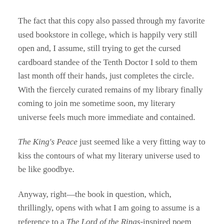The fact that this copy also passed through my favorite used bookstore in college, which is happily very still open and, I assume, still trying to get the cursed cardboard standee of the Tenth Doctor I sold to them last month off their hands, just completes the circle. With the fiercely curated remains of my library finally coming to join me sometime soon, my literary universe feels much more immediate and contained.
The King's Peace just seemed like a very fitting way to kiss the contours of what my literary universe used to be like goodbye.
Anyway, right—the book in question, which, thrillingly, opens with what I am going to assume is a reference to a The Lord of the Rings-inspired poem about Théodwyn.